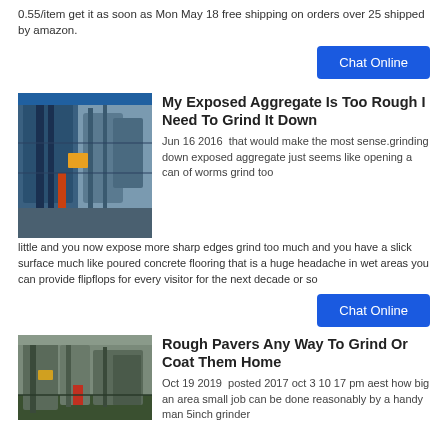0.55/item get it as soon as Mon May 18 free shipping on orders over 25 shipped by amazon.
Chat Online
My Exposed Aggregate Is Too Rough I Need To Grind It Down
[Figure (photo): Industrial machinery/grinding equipment in an outdoor setting with blue structure and pipes]
Jun 16 2016  that would make the most sense.grinding down exposed aggregate just seems like opening a can of worms grind too little and you now expose more sharp edges grind too much and you have a slick surface much like poured concrete flooring that is a huge headache in wet areas you can provide flipflops for every visitor for the next decade or so
Chat Online
Rough Pavers Any Way To Grind Or Coat Them Home
[Figure (photo): Industrial machinery inside a factory/warehouse setting with equipment and machinery]
Oct 19 2019  posted 2017 oct 3 10 17 pm aest how big an area small job can be done reasonably by a handy man 5inch grinder